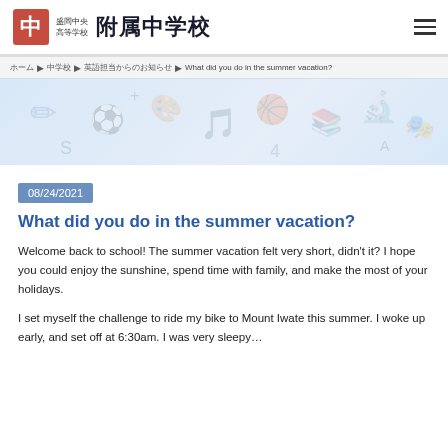盛岡中央高等学校 附属中学校
ホーム ▶ 中学校 ▶ 英語担当からのお知らせ ▶ What did you do in the summer vacation?
[Figure (illustration): Light blue banner with watermark icons of educational/activity symbols]
08/24/2021
What did you do in the summer vacation?
Welcome back to school! The summer vacation felt very short, didn't it? I hope you could enjoy the sunshine, spend time with family, and make the most of your holidays.
I set myself the challenge to ride my bike to Mount Iwate this summer. I woke up early, and set off at 6:30am. I was very sleepy…